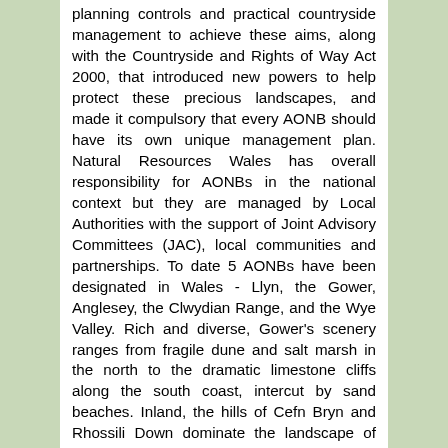planning controls and practical countryside management to achieve these aims, along with the Countryside and Rights of Way Act 2000, that introduced new powers to help protect these precious landscapes, and made it compulsory that every AONB should have its own unique management plan. Natural Resources Wales has overall responsibility for AONBs in the national context but they are managed by Local Authorities with the support of Joint Advisory Committees (JAC), local communities and partnerships. To date 5 AONBs have been designated in Wales - Llyn, the Gower, Anglesey, the Clwydian Range, and the Wye Valley. Rich and diverse, Gower's scenery ranges from fragile dune and salt marsh in the north to the dramatic limestone cliffs along the south coast, intercut by sand beaches. Inland, the hills of Cefn Bryn and Rhossili Down dominate the landscape of traditional small fields, wooded valleys and open commons. It is now part of a family of 46 AONBs and 13 National Parks in England, Wales and Northern Ireland. Planning legislation gives Gower the same protection as a National Park. Gower is the anglicised form of the Welsh word gwyr, meaning curved - the area had already been recognised as having significant natural importance even before it became an AONB in 1956.